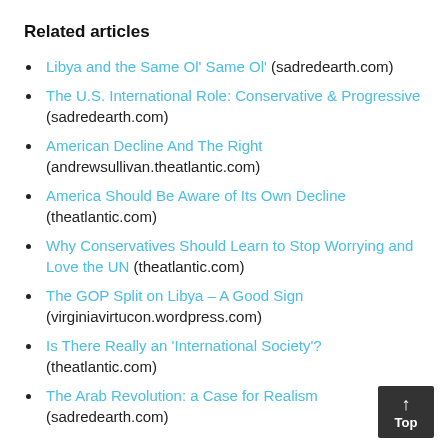Related articles
Libya and the Same Ol' Same Ol' (sadredearth.com)
The U.S. International Role: Conservative & Progressive (sadredearth.com)
American Decline And The Right (andrewsullivan.theatlantic.com)
America Should Be Aware of Its Own Decline (theatlantic.com)
Why Conservatives Should Learn to Stop Worrying and Love the UN (theatlantic.com)
The GOP Split on Libya – A Good Sign (virginiavirtucon.wordpress.com)
Is There Really an 'International Society'? (theatlantic.com)
The Arab Revolution: a Case for Realism (sadredearth.com)